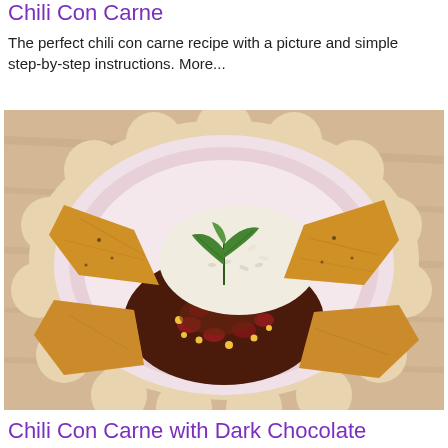Chili Con Carne
The perfect chili con carne recipe with a picture and simple step-by-step instructions. More...
[Figure (photo): A pink plate of chili con carne served with white rice, tortilla chips, and garnished with fresh basil leaves, placed on a wooden surface.]
Chili Con Carne with Dark Chocolate